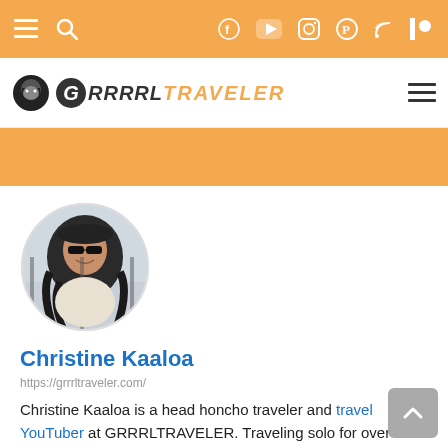Navigation bar with menu, search, Facebook, YouTube, Instagram, Pinterest, RSS, Patreon icons
[Figure (logo): Grrrl Traveler logo with ninja icon and orange/black text]
[Figure (photo): Circular profile photo of Christine Kaaloa]
Christine Kaaloa
https://grrrltraveler.com/
Christine Kaaloa is a head honcho traveler and travel YouTuber at GRRRLTRAVELER. Traveling solo for over 8 years, I'm an island girl from Hawaii. I love films, art and making travel videos to show you that travel dreams can happen at any age!